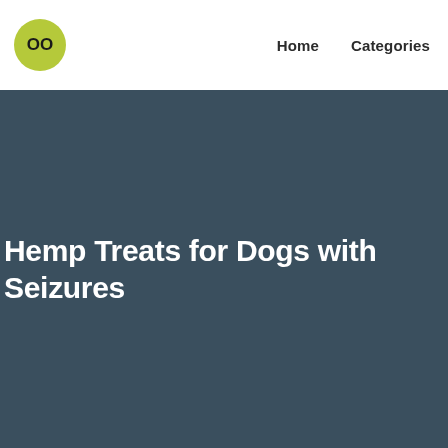OO  Home  Categories
Hemp Treats for Dogs with Seizures